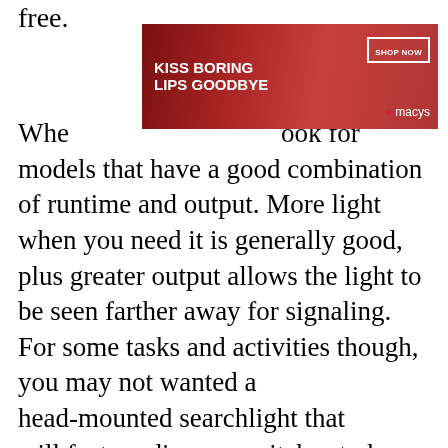free.
[Figure (screenshot): Advertisement banner for Macy's with text 'KISS BORING LIPS GOODBYE', a SHOP NOW button, and Macy's logo with red star, overlaid on a photo of a woman's face with red lipstick on dark red background]
When looking for models that have a good combination of runtime and output. More light when you need it is generally good, plus greater output allows the light to be seen farther away for signaling. For some tasks and activities though, you may not want a head-mounted searchlight so some will feature dimmer switches to lower output. These units can be more expensive put may be worth it for their adaptability, not to mention their energy saving utility. Whichever you wind up choosing, ensure you have several extra sets of batteries for each.
[Figure (screenshot): Video player overlay showing a black background with a white circular loading spinner/icon, partially covering the article text. A close (X) button appears to the left of the video overlay.]